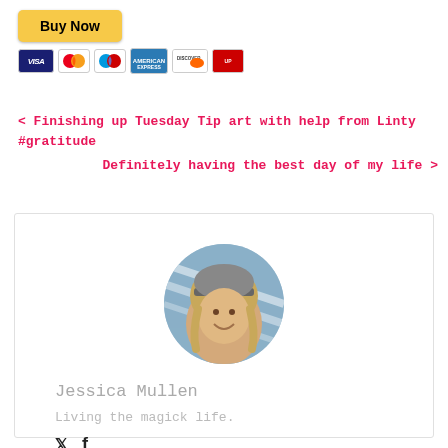[Figure (other): PayPal Buy Now button with payment card icons (Visa, Mastercard, Maestro, American Express, Discover, UnionPay)]
< Finishing up Tuesday Tip art with help from Linty #gratitude
Definitely having the best day of my life >
[Figure (photo): Circular profile photo of Jessica Mullen, a woman wearing a cap, smiling]
Jessica Mullen
Living the magick life.
Twitter and Facebook social icons